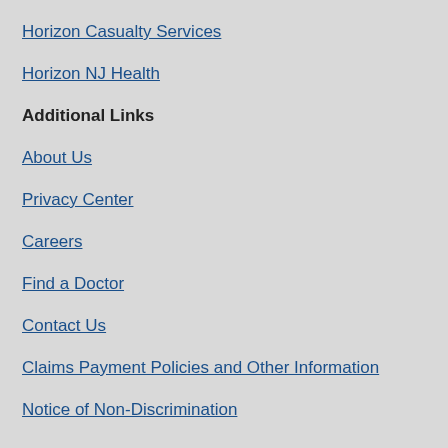Horizon Casualty Services
Horizon NJ Health
Additional Links
About Us
Privacy Center
Careers
Find a Doctor
Contact Us
Claims Payment Policies and Other Information
Notice of Non-Discrimination